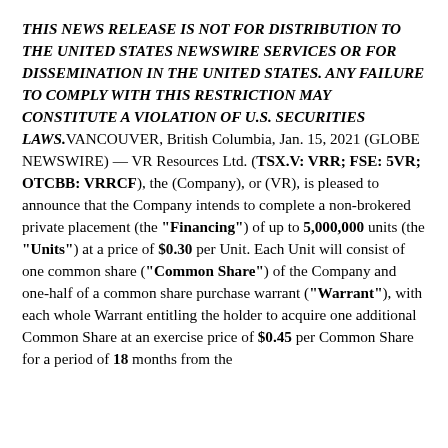THIS NEWS RELEASE IS NOT FOR DISTRIBUTION TO THE UNITED STATES NEWSWIRE SERVICES OR FOR DISSEMINATION IN THE UNITED STATES. ANY FAILURE TO COMPLY WITH THIS RESTRICTION MAY CONSTITUTE A VIOLATION OF U.S. SECURITIES LAWS. VANCOUVER, British Columbia, Jan. 15, 2021 (GLOBE NEWSWIRE) — VR Resources Ltd. (TSX.V: VRR; FSE: 5VR; OTCBB: VRRCF), the (Company), or (VR), is pleased to announce that the Company intends to complete a non-brokered private placement (the "Financing") of up to 5,000,000 units (the "Units") at a price of $0.30 per Unit. Each Unit will consist of one common share ("Common Share") of the Company and one-half of a common share purchase warrant ("Warrant"), with each whole Warrant entitling the holder to acquire one additional Common Share at an exercise price of $0.45 per Common Share for a period of 18 months from the